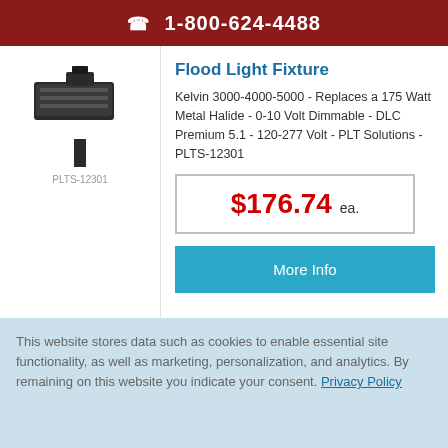1-800-624-4488
[Figure (photo): Flood light fixture product image, dark-colored rectangular LED flood light on a mounting bracket/pole]
PLTS-12301
Flood Light Fixture
Kelvin 3000-4000-5000 - Replaces a 175 Watt Metal Halide - 0-10 Volt Dimmable - DLC Premium 5.1 - 120-277 Volt - PLT Solutions - PLTS-12301
$176.74 ea.
More Info
This website stores data such as cookies to enable essential site functionality, as well as marketing, personalization, and analytics. By remaining on this website you indicate your consent. Privacy Policy